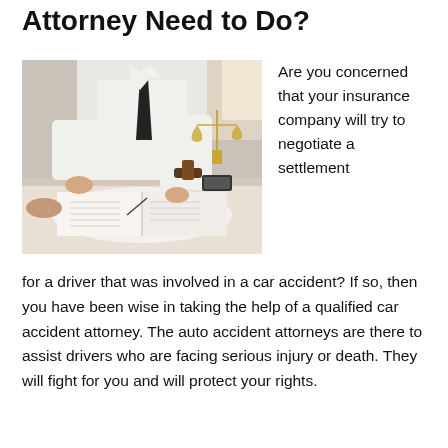Attorney Need to Do?
[Figure (photo): A suited attorney sitting across a desk from a client, signing or reviewing documents in an open book, with a judge's gavel and golden scales of justice in the background.]
Are you concerned that your insurance company will try to negotiate a settlement for a driver that was involved in a car accident? If so, then you have been wise in taking the help of a qualified car accident attorney. The auto accident attorneys are there to assist drivers who are facing serious injury or death. They will fight for you and will protect your rights.